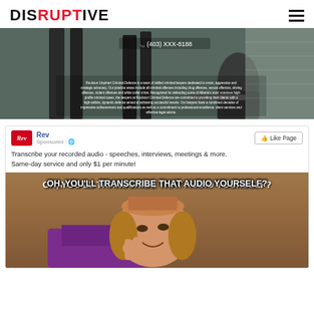DISRUPTIVE
[Figure (photo): Hero banner image showing office scene with people, overlaid with phone number (403) XXX-XXXX and descriptive text about Roulston Urquhart Criminal Defence law firm]
[Figure (screenshot): Facebook ad for Rev transcription service showing logo, 'Like Page' button, ad text about transcribing audio, and a Willy Wonka meme image with text 'OH, YOU'LL TRANSCRIBE THAT AUDIO YOURSELF?']
Transcribe your recorded audio - speeches, interviews, meetings & more. Same-day service and only $1 per minute!
OH, YOU'LL TRANSCRIBE THAT AUDIO YOURSELF?